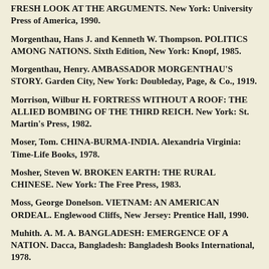FRESH LOOK AT THE ARGUMENTS. New York: University Press of America, 1990.
Morgenthau, Hans J. and Kenneth W. Thompson. POLITICS AMONG NATIONS. Sixth Edition, New York: Knopf, 1985.
Morgenthau, Henry. AMBASSADOR MORGENTHAU'S STORY. Garden City, New York: Doubleday, Page, & Co., 1919.
Morrison, Wilbur H. FORTRESS WITHOUT A ROOF: THE ALLIED BOMBING OF THE THIRD REICH. New York: St. Martin's Press, 1982.
Moser, Tom. CHINA-BURMA-INDIA. Alexandria Virginia: Time-Life Books, 1978.
Mosher, Steven W. BROKEN EARTH: THE RURAL CHINESE. New York: The Free Press, 1983.
Moss, George Donelson. VIETNAM: AN AMERICAN ORDEAL. Englewood Cliffs, New Jersey: Prentice Hall, 1990.
Muhith. A. M. A. BANGLADESH: EMERGENCE OF A NATION. Dacca, Bangladesh: Bangladesh Books International, 1978.